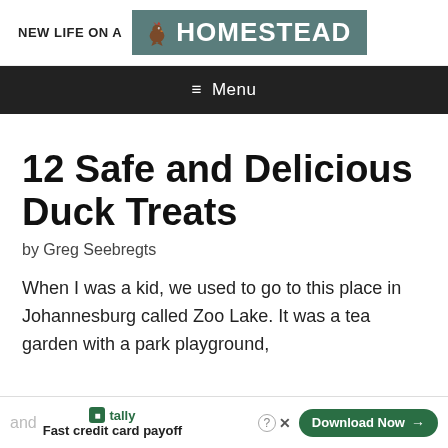NEW LIFE ON A HOMESTEAD
≡ Menu
12 Safe and Delicious Duck Treats
by Greg Seebregts
When I was a kid, we used to go to this place in Johannesburg called Zoo Lake. It was a tea garden with a park playground, and
and  tally  Fast credit card payoff  Download Now →